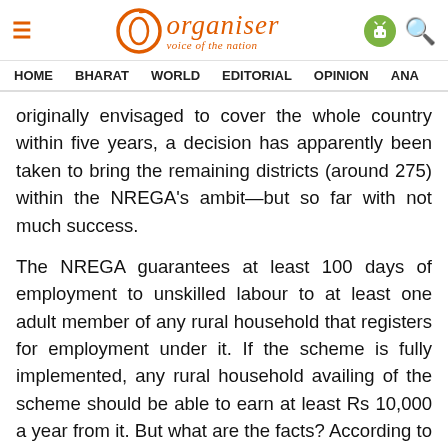Organiser — voice of the nation
HOME   BHARAT   WORLD   EDITORIAL   OPINION   ANA
originally envisaged to cover the whole country within five years, a decision has apparently been taken to bring the remaining districts (around 275) within the NREGA's ambit—but so far with not much success.
The NREGA guarantees at least 100 days of employment to unskilled labour to at least one adult member of any rural household that registers for employment under it. If the scheme is fully implemented, any rural household availing of the scheme should be able to earn at least Rs 10,000 a year from it. But what are the facts? According to a